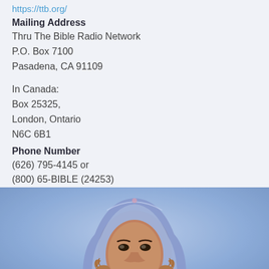https://ttb.org/
Mailing Address
Thru The Bible Radio Network
P.O. Box 7100
Pasadena, CA 91109
In Canada:
Box 25325,
London, Ontario
N6C 6B1
Phone Number
(626) 795-4145 or
(800) 65-BIBLE (24253)
[Figure (photo): A young person wearing a blue/lavender head covering or hijab, looking forward, photographed against a soft blue background.]